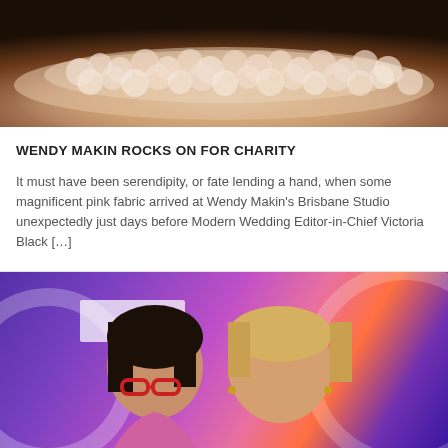[Figure (photo): Close-up photo of fluffy/curly pink-white fabric or fur material on a dark wooden surface]
WENDY MAKIN ROCKS ON FOR CHARITY
It must have been serendipity, or fate lending a hand, when some magnificent pink fabric arrived at Wendy Makin's Brisbane Studio unexpectedly just days before Modern Wedding Editor-in-Chief Victoria Black […]
[Figure (photo): Photo of two or more women smiling at an event with purple and orange lighting, decorative circles in the background, and a white banner/sign visible]